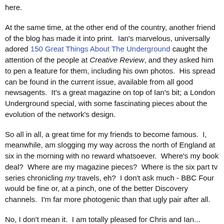here.
At the same time, at the other end of the country, another friend of the blog has made it into print.  Ian's marvelous, universally adored 150 Great Things About The Underground caught the attention of the people at Creative Review, and they asked him to pen a feature for them, including his own photos.  His spread can be found in the current issue, available from all good newsagents.  It's a great magazine on top of Ian's bit; a London Underground special, with some fascinating pieces about the evolution of the network's design.
So all in all, a great time for my friends to become famous.  I, meanwhile, am slogging my way across the north of England at six in the morning with no reward whatsoever.  Where's my book deal?  Where are my magazine pieces?  Where is the six part tv series chronicling my travels, eh?  I don't ask much - BBC Four would be fine or, at a pinch, one of the better Discovery channels.  I'm far more photogenic than that ugly pair after all.
No, I don't mean it.  I am totally pleased for Chris and Ian...